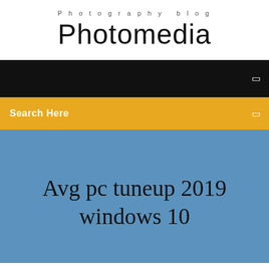Photography blog
Photomedia
[Figure (screenshot): Black navigation bar with a small white icon on the right side]
[Figure (screenshot): Yellow/amber search bar with 'Search Here' text on the left and a small white icon on the right]
Avg pc tuneup 2019 windows 10